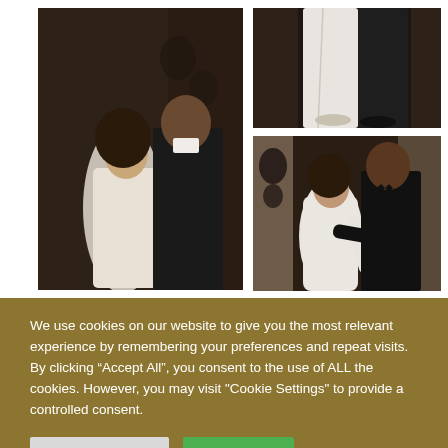[Figure (photo): A couple in wedding attire — woman in white dress, man in dark suit — standing close together near an ornate dark door, looking at each other.]
[Figure (photo): Close-up of the couple from waist down — woman in white skirt/dress, man in dark trousers, standing together.]
[Figure (photo): The couple embracing near stone columns, woman in white long-sleeve dress leaning back looking up at the man in a black tuxedo.]
We use cookies on our website to give you the most relevant experience by remembering your preferences and repeat visits. By clicking “Accept All”, you consent to the use of ALL the cookies. However, you may visit "Cookie Settings" to provide a controlled consent.
Cookie Settings | Accept All